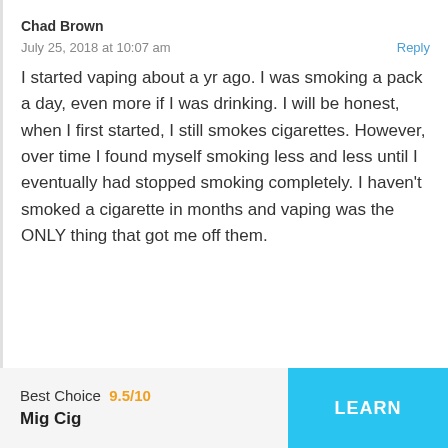Chad Brown
July 25, 2018 at 10:07 am
Reply
I started vaping about a yr ago. I was smoking a pack a day, even more if I was drinking. I will be honest, when I first started, I still smokes cigarettes. However, over time I found myself smoking less and less until I eventually had stopped smoking completely. I haven't smoked a cigarette in months and vaping was the ONLY thing that got me off them.
karen ralph
July 20, 2018 at 12:42 am
Reply
Best Choice 9.5/10 Mig Cig LEARN